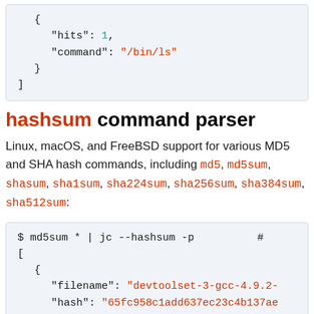{
        "hits": 1,
        "command": "/bin/ls"
    }
]
hashsum command parser
Linux, macOS, and FreeBSD support for various MD5 and SHA hash commands, including md5, md5sum, shasum, sha1sum, sha224sum, sha256sum, sha384sum, sha512sum:
$ md5sum * | jc --hashsum -p   #
[
  {
    "filename": "devtoolset-3-gcc-4.9.2-
    "hash": "65fc958c1add637ec23c4b137ae
  },